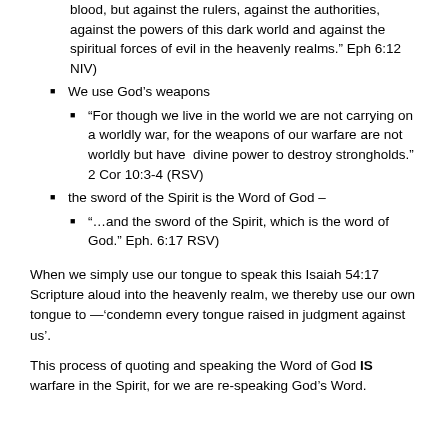blood, but against the rulers, against the authorities, against the powers of this dark world and against the spiritual forces of evil in the heavenly realms." Eph 6:12 NIV)
We use God’s weapons
“For though we live in the world we are not carrying on a worldly war, for the weapons of our warfare are not worldly but have  divine power to destroy strongholds.” 2 Cor 10:3-4 (RSV)
the sword of the Spirit is the Word of God –
“…and the sword of the Spirit, which is the word of God.” Eph. 6:17 RSV)
When we simply use our tongue to speak this Isaiah 54:17 Scripture aloud into the heavenly realm, we thereby use our own tongue to —‘condemn every tongue raised in judgment against us’.
This process of quoting and speaking the Word of God IS warfare in the Spirit, for we are re-speaking God’s Word.